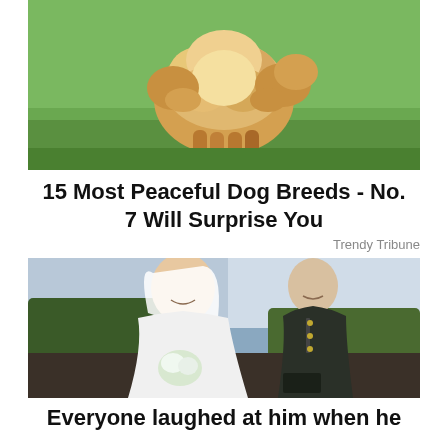[Figure (photo): A fluffy golden/cream colored dog standing on green grass, photographed from behind/side showing its full fluffy coat]
15 Most Peaceful Dog Breeds - No. 7 Will Surprise You
Trendy Tribune
[Figure (photo): A wedding photo showing a bride in white dress and veil holding white flowers, and a groom in military dress uniform, standing outdoors near a lake with trees in the background]
Everyone laughed at him when he